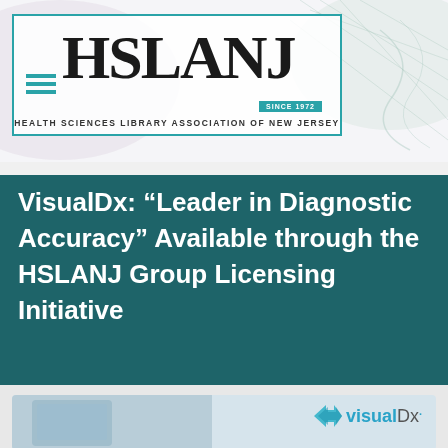[Figure (logo): HSLANJ logo — Health Sciences Library Association of New Jersey, Since 1972, with teal border and decorative background]
VisualDx: “Leader in Diagnostic Accuracy” Available through the HSLANJ Group Licensing Initiative
[Figure (logo): VisualDx logo with teal arrow icon and 'visualDx' text in grey and teal]